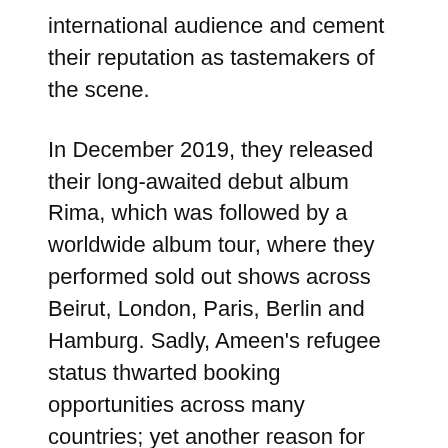international audience and cement their reputation as tastemakers of the scene.
In December 2019, they released their long-awaited debut album Rima, which was followed by a worldwide album tour, where they performed sold out shows across Beirut, London, Paris, Berlin and Hamburg. Sadly, Ameen's refugee status thwarted booking opportunities across many countries; yet another reason for the duo's passion and dedication to connect with music audiences the world over. Using their music as a message for cultural diversity, the pair takes huge inspiration from their respective backgrounds, gravitating to Syrian folklore when devising their lyrics in Arabic and opting for western-rooted electronic music for the format.
Ragheb Alama – 'Ya Rayt' (Shkoon Remix) is out now via MDLBEAST Records' new imprint WTR Here.